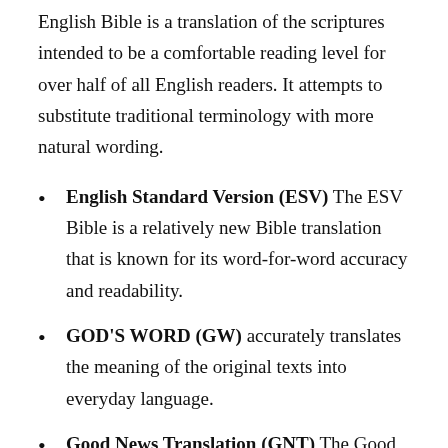English Bible is a translation of the scriptures intended to be a comfortable reading level for over half of all English readers. It attempts to substitute traditional terminology with more natural wording.
English Standard Version (ESV) The ESV Bible is a relatively new Bible translation that is known for its word-for-word accuracy and readability.
GOD'S WORD (GW) accurately translates the meaning of the original texts into everyday language.
Good News Translation (GNT) The Good News Translation was first published in 1976